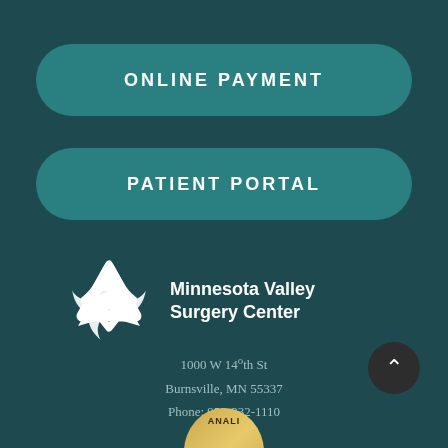ONLINE PAYMENT
PATIENT PORTAL
[Figure (logo): Minnesota Valley Surgery Center logo with triangular knot symbol in white and text 'Minnesota Valley Surgery Center']
1000 W 140th St
Burnsville, MN 55337
Phone: 952-232-1110
[Figure (other): Partial gold circular badge/seal at bottom of page]